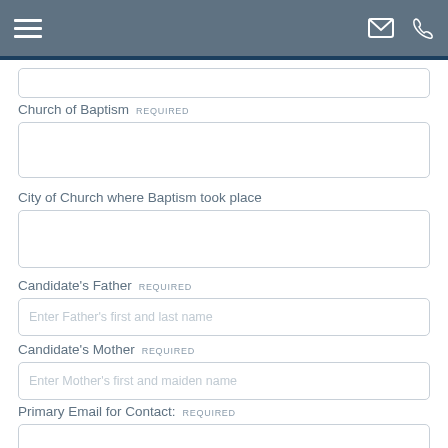Navigation bar with hamburger menu, email icon, and phone icon
Church of Baptism REQUIRED
City of Church where Baptism took place
Candidate's Father REQUIRED
Enter Father's first and last name
Candidate's Mother REQUIRED
Enter Mother's first and maiden name
Primary Email for Contact: REQUIRED